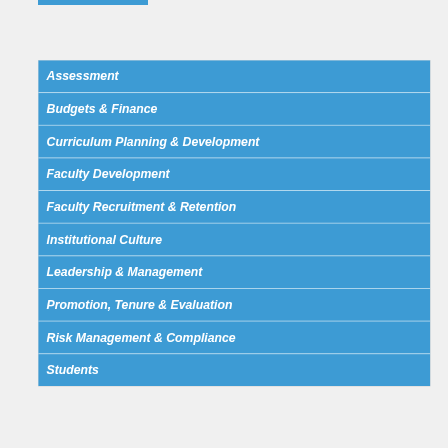Assessment
Budgets & Finance
Curriculum Planning & Development
Faculty Development
Faculty Recruitment & Retention
Institutional Culture
Leadership & Management
Promotion, Tenure & Evaluation
Risk Management & Compliance
Students